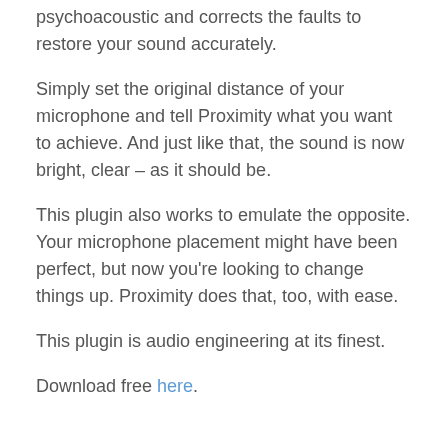psychoacoustic and corrects the faults to restore your sound accurately.
Simply set the original distance of your microphone and tell Proximity what you want to achieve. And just like that, the sound is now bright, clear – as it should be.
This plugin also works to emulate the opposite. Your microphone placement might have been perfect, but now you're looking to change things up. Proximity does that, too, with ease.
This plugin is audio engineering at its finest.
Download free here.
7. iZotope Vocal Doubler